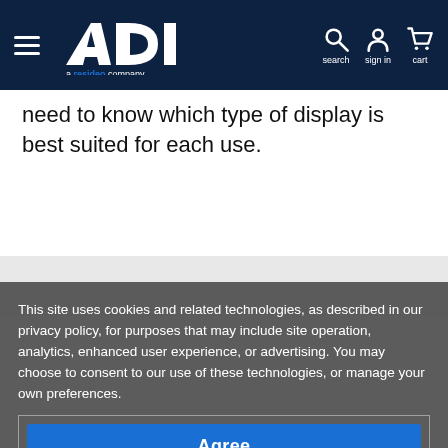ADI - a Resideo company
need to know which type of display is best suited for each use.
This site uses cookies and related technologies, as described in our privacy policy, for purposes that may include site operation, analytics, enhanced user experience, or advertising. You may choose to consent to our use of these technologies, or manage your own preferences.
Agree